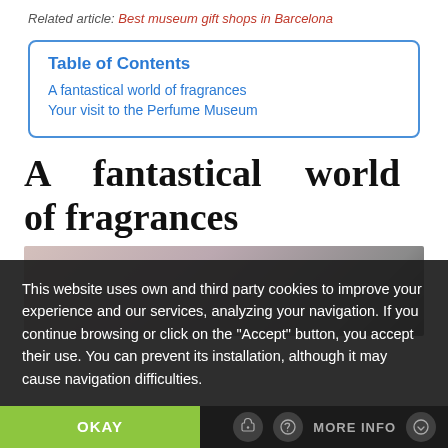Related article: Best museum gift shops in Barcelona
| Table of Contents |
| --- |
| A fantastical world of fragrances |
| Your visit to the Perfume Museum |
A fantastical world of fragrances
[Figure (photo): Partially visible blurred photo of perfume or museum objects]
This website uses own and third party cookies to improve your experience and our services, analyzing your navigation. If you continue browsing or click on the "Accept" button, you accept their use. You can prevent its installation, although it may cause navigation difficulties.
OKAY    MORE INFO